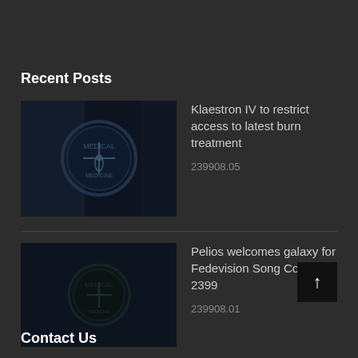Recent Posts
[Figure (photo): Medical badge/emblem with caduceus symbol on a dark futuristic background]
Klaestron IV to restrict access to latest burn treatment
239908.05
[Figure (photo): Dark background with faint medical emblem for Pelios post]
Pelios welcomes galaxy for Fedevision Song Contest 2399
239908.01
Contact Us